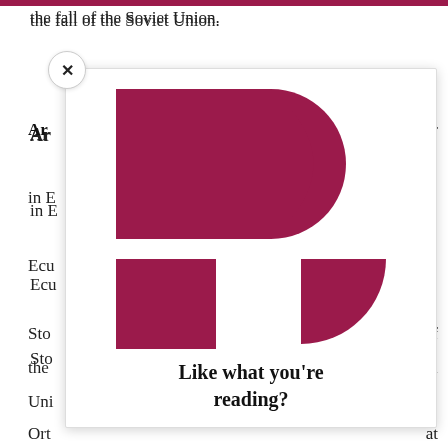the fall of the Soviet Union.
Ar... or
in E...
Ecu...
Sto... f
the... al
Uni...
doc... er
the... s a
cha...
Chu... x
Chu...
Edu...
Ort... at
[Figure (logo): Partial view of a dark magenta/crimson logo resembling the letter P or F, composed of geometric shapes: a rectangle with a half-circle on the right (top) and a rectangle with a separate quarter-circle (bottom).]
Like what you're reading?